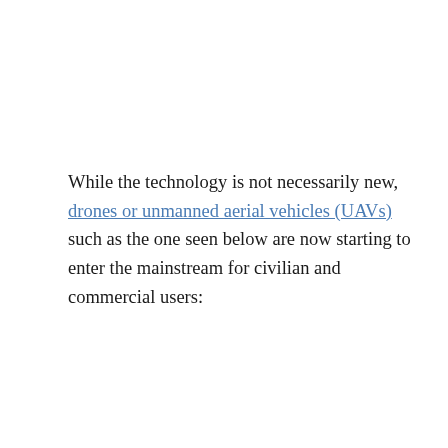While the technology is not necessarily new, drones or unmanned aerial vehicles (UAVs) such as the one seen below are now starting to enter the mainstream for civilian and commercial users: